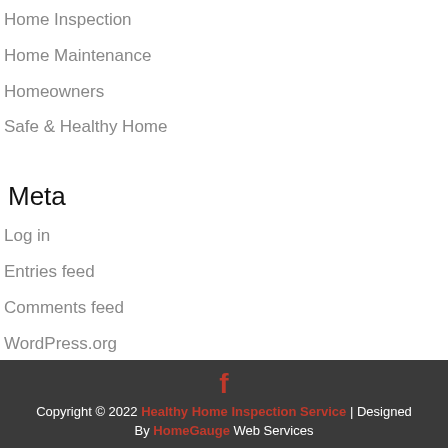Home Inspection
Home Maintenance
Homeowners
Safe & Healthy Home
Meta
Log in
Entries feed
Comments feed
WordPress.org
Copyright © 2022 Healthy Home Inspection Service | Designed By HomeGauge Web Services